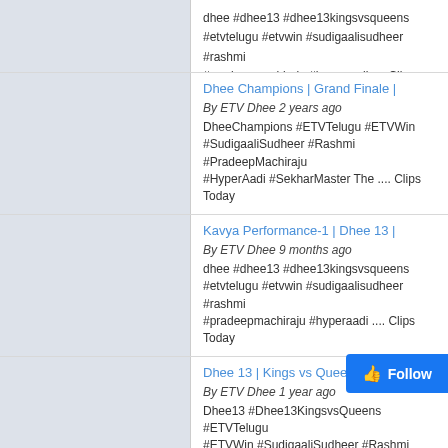dhee #dhee13 #dhee13kingsvsqueens #etvtelugu #etvwin #sudigaalisudheer #rashmi #pradeepmachiraju #hyperaadi .... Clips Today
Dhee Champions | Grand Finale | By ETV Dhee 2 years ago DheeChampions #ETVTelugu #ETVWin #SudigaaliSudheer #Rashmi #PradeepMachiraju #HyperAadi #SekharMaster The .... Clips Today
Kavya Performance-1 | Dhee 13 | By ETV Dhee 9 months ago dhee #dhee13 #dhee13kingsvsqueens #etvtelugu #etvwin #sudigaalisudheer #rashmi #pradeepmachiraju #hyperaadi .... Clips Today
Dhee 13 | Kings vs Queens | By ETV Dhee 1 year ago Dhee13 #Dhee13KingsvsQueens #ETVTelugu #ETVWin #SudigaaliSudheer #Rashmi #PradeepMachiraju #HyperAadi .... Clips Today
Piyush & Somesh Shoot Out